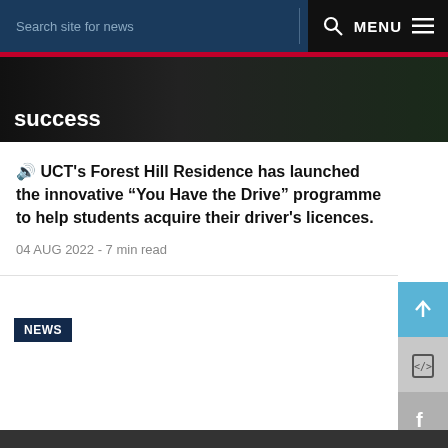Search site for news   MENU
success
🔊 UCT's Forest Hill Residence has launched the innovative "You Have the Drive" programme to help students acquire their driver's licences.
04 AUG 2022 - 7 min read
NEWS